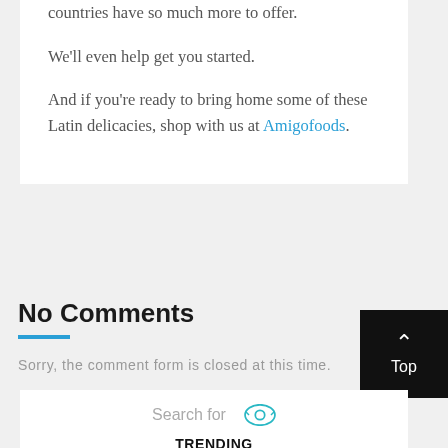countries have so much more to offer.
We'll even help get you started.
And if you're ready to bring home some of these Latin delicacies, shop with us at Amigofoods.
No Comments
Sorry, the comment form is closed at this time.
Search for
TRENDING
1. FRONT YARD DESIGNS